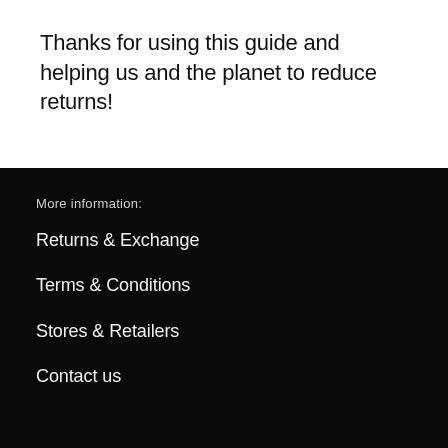Thanks for using this guide and helping us and the planet to reduce returns!
More information:
Returns & Exchange
Terms & Conditions
Stores & Retailers
Contact us